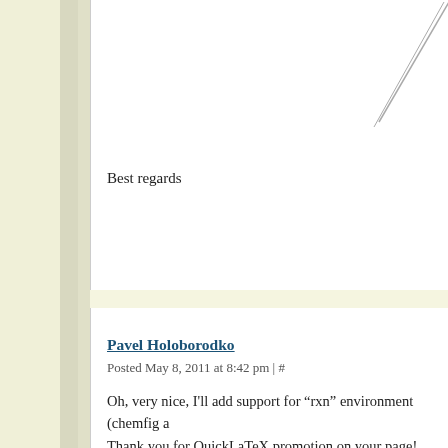Best regards
Pavel Holoborodko
Posted May 8, 2011 at 8:42 pm | #
Oh, very nice, I'll add support for "rxn" environment (chemfig a Thank you for QuickLaTeX promotion on your page!
ptrcao
Posted May 8, 2011 at 8:48 pm | #
It's probably just me, but I'm not able to reproduce the same res
[latex]
[preamble]
\usepackage{mychemistry}